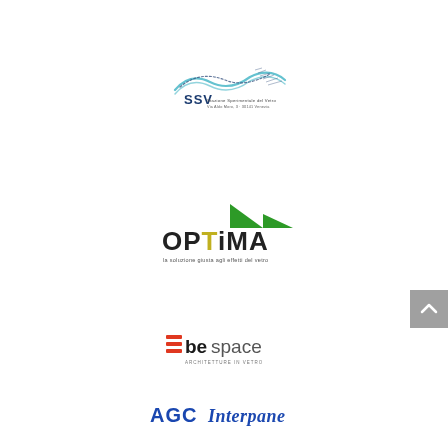[Figure (logo): SSV Stazione Sperimentale del Vetro logo with wave pattern and text]
[Figure (logo): OPTIMA logo with green triangle and tagline in Italian]
[Figure (logo): bespace logo with orange/red stripes and subtitle]
[Figure (logo): AGC Interpane logo in blue text]